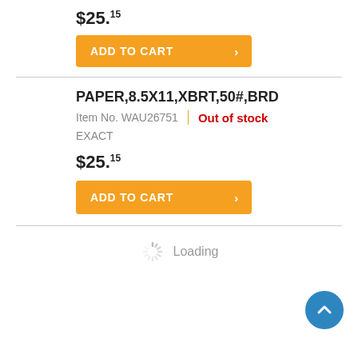$25.15
[Figure (other): Orange 'ADD TO CART' button with right arrow, top instance]
PAPER,8.5X11,XBRT,50#,BRD
Item No. WAU26751 | Out of stock
EXACT
$25.15
[Figure (other): Orange 'ADD TO CART' button with right arrow, bottom instance]
Loading
[Figure (other): Blue circular scroll-to-top button with upward chevron arrow]